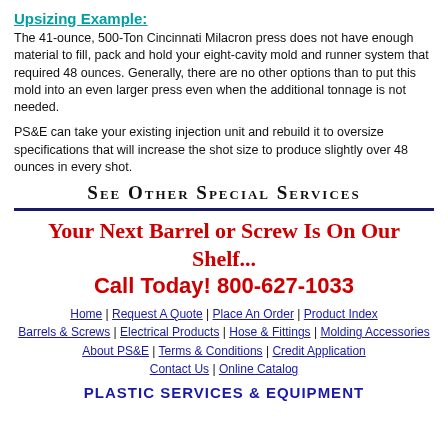Upsizing Example:
The 41-ounce, 500-Ton Cincinnati Milacron press does not have enough material to fill, pack and hold your eight-cavity mold and runner system that required 48 ounces. Generally, there are no other options than to put this mold into an even larger press even when the additional tonnage is not needed.
PS&E can take your existing injection unit and rebuild it to oversize specifications that will increase the shot size to produce slightly over 48 ounces in every shot.
See Other Special Services
Your Next Barrel or Screw Is On Our Shelf...
Call Today! 800-627-1033
Home | Request A Quote | Place An Order | Product Index
Barrels & Screws | Electrical Products | Hose & Fittings | Molding Accessories
About PS&E | Terms & Conditions | Credit Application
Contact Us | Online Catalog
PLASTIC SERVICES & EQUIPMENT